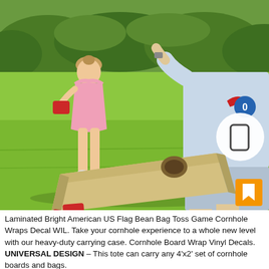[Figure (photo): Outdoor photo of a young girl in a pink dress holding a red bean bag and an adult male standing next to a cornhole board on a grassy lawn with hedges in the background. UI overlay elements visible: white circle with rectangle icon, blue badge with '0', red accent, and orange bookmark button.]
Laminated Bright American US Flag Bean Bag Toss Game Cornhole Wraps Decal WIL. Take your cornhole experience to a whole new level with our heavy-duty carrying case. Cornhole Board Wrap Vinyl Decals. UNIVERSAL DESIGN – This tote can carry any 4'x2' set of cornhole boards and bags.